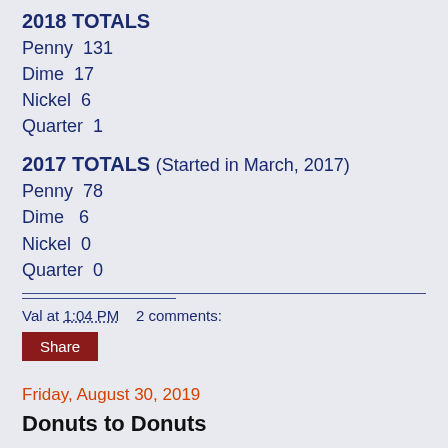2018 TOTALS
Penny  131
Dime  17
Nickel  6
Quarter  1
2017 TOTALS (Started in March, 2017)
Penny  78
Dime   6
Nickel  0
Quarter  0
Val at 1:04 PM    2 comments:
Share
Friday, August 30, 2019
Donuts to Donuts